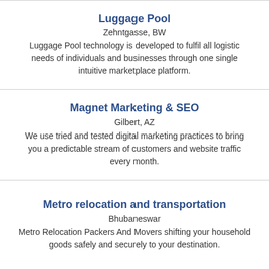Luggage Pool
Zehntgasse, BW
Luggage Pool technology is developed to fulfil all logistic needs of individuals and businesses through one single intuitive marketplace platform.
Magnet Marketing & SEO
Gilbert, AZ
We use tried and tested digital marketing practices to bring you a predictable stream of customers and website traffic every month.
Metro relocation and transportation
Bhubaneswar
Metro Relocation Packers And Movers shifting your household goods safely and securely to your destination.